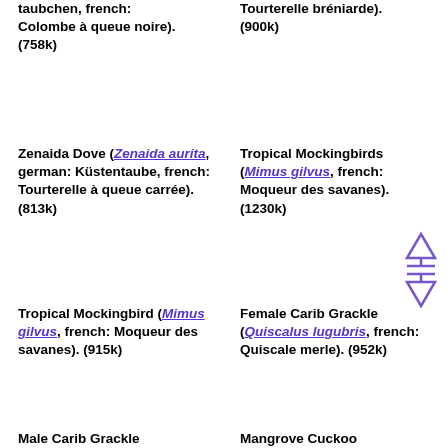taubchen, french: Colombe à queue noire). (758k)
Tourterelle bréniarde). (900k)
Zenaida Dove (Zenaida aurita, german: Küstentaube, french: Tourterelle à queue carrée). (813k)
Tropical Mockingbirds (Mimus gilvus, french: Moqueur des savanes). (1230k)
Tropical Mockingbird (Mimus gilvus, french: Moqueur des savanes). (915k)
Female Carib Grackle (Quiscalus lugubris, french: Quiscale merle). (952k)
Male Carib Grackle
Mangrove Cuckoo